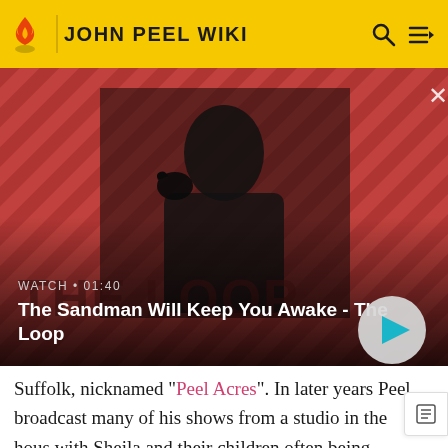JOHN PEEL WIKI
[Figure (screenshot): Video thumbnail for 'The Sandman Will Keep You Awake - The Loop' with a dark-clad figure against a red striped background, showing WATCH • 01:40 label and a play button]
The Sandman Will Keep You Awake - The Loop
Suffolk, nicknamed "Peel Acres". In later years Peel broadcast many of his shows from a studio in the hous with Sheila and their children often being involved or at least mentioned. Peel's passion for Liverpool F.C. was reflected in his children's names: William Robert Anfield,